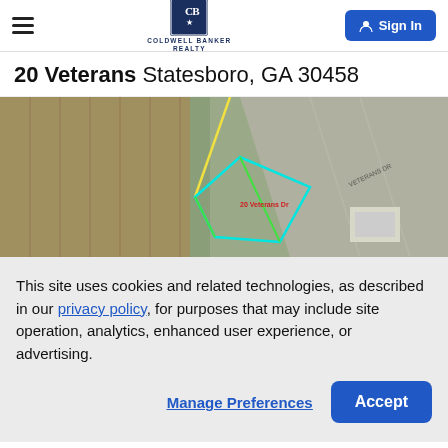Coldwell Banker Realty — Sign In
20 Veterans Statesboro, GA 30458
[Figure (photo): Aerial satellite view of a land parcel at 20 Veterans Dr, Statesboro, GA, outlined with cyan/green polygon lines on a bird's-eye view of fields and roads.]
This site uses cookies and related technologies, as described in our privacy policy, for purposes that may include site operation, analytics, enhanced user experience, or advertising.
Manage Preferences   Accept